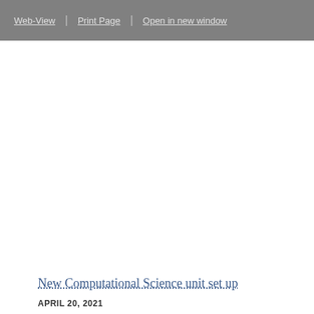Web-View | Print Page | Open in new window
New Computational Science unit set up
APRIL 20, 2021